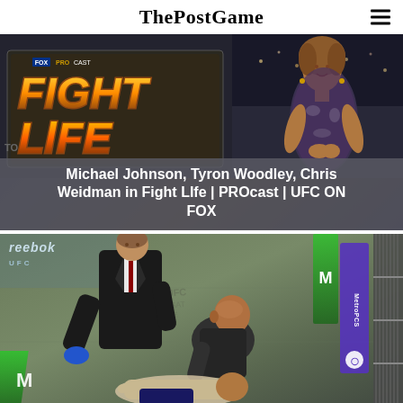ThePostGame
[Figure (screenshot): Fox Sports PROcast Fight Life broadcast screenshot with host standing in front of a large illuminated 'FIGHT LIFE' sign]
Michael Johnson, Tyron Woodley, Chris Weidman in Fight LIfe | PROcast | UFC ON FOX
[Figure (photo): UFC official crouching over a downed fighter inside the octagon, with a referee in a suit standing nearby. Reebok and Monster Energy branding visible on the mat.]